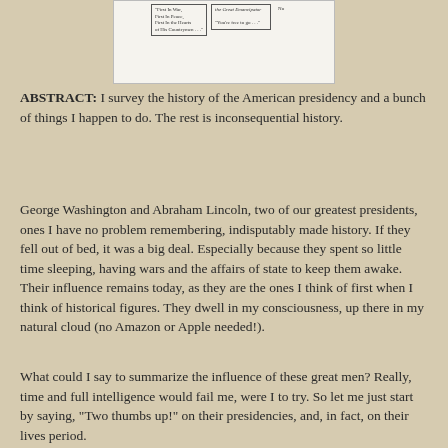[Figure (illustration): A scanned illustration showing historical figures with caption text including 'First In War, First In Peace, First In the Hearts of His Countrymen...', 'the Great Emancipator', and 'You're free to go...' with 'No' on the right side.]
ABSTRACT: I survey the history of the American presidency and a bunch of things I happen to do. The rest is inconsequential history.
George Washington and Abraham Lincoln, two of our greatest presidents, ones I have no problem remembering, indisputably made history. If they fell out of bed, it was a big deal. Especially because they spent so little time sleeping, having wars and the affairs of state to keep them awake. Their influence remains today, as they are the ones I think of first when I think of historical figures. They dwell in my consciousness, up there in my natural cloud (no Amazon or Apple needed!).
What could I say to summarize the influence of these great men? Really, time and full intelligence would fail me, were I to try. So let me just start by saying, "Two thumbs up!" on their presidencies, and, in fact, on their lives period.